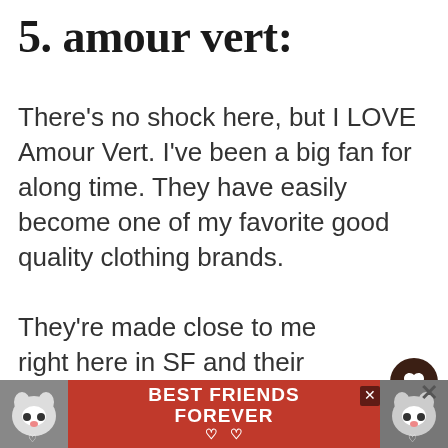5. amour vert:
There's no shock here, but I LOVE Amour Vert. I've been a big fan for along time. They have easily become one of my favorite good quality clothing brands.
They're made close to me right here in SF and their sustainable fabrics are so luxurious.
If you're looking for cute prints and work appropriate clothes, then look no further.
[Figure (screenshot): Advertisement banner at the bottom: red background with two cat photos on each side and text 'BEST FRIENDS FOREVER' in white bold font with heart symbols. Close button visible.]